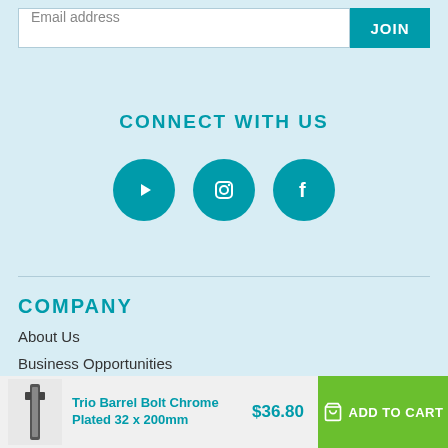Email address
JOIN
CONNECT WITH US
[Figure (illustration): Three social media icons in teal circles: YouTube, Instagram, Facebook]
COMPANY
About Us
Business Opportunities
Rusty & Sandy
Trio Barrel Bolt Chrome Plated 32 x 200mm
$36.80
ADD TO CART